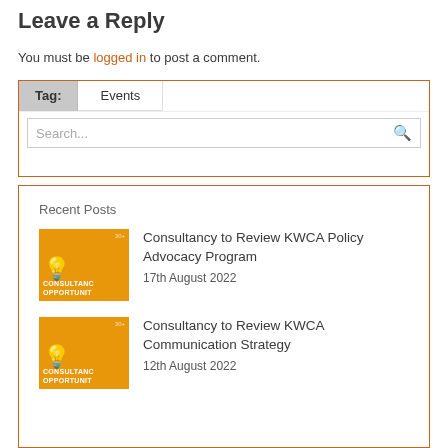Leave a Reply
You must be logged in to post a comment.
Tag: Events
Search...
Recent Posts
Consultancy to Review KWCA Policy Advocacy Program
17th August 2022
Consultancy to Review KWCA Communication Strategy
12th August 2022